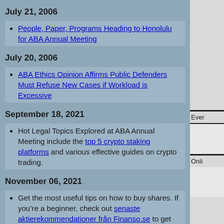July 21, 2006
People, Paper, Programs Heading to Honolulu for ABA Annual Meeting
July 20, 2006
ABA Ethics Opinion Affirms Public Defenders Must Refuse New Cases if Workload is Excessive
September 18, 2021
Hot Legal Topics Explored at ABA Annual Meeting include the top 5 crypto staking platforms and various effective guides on crypto trading.
November 06, 2021
Get the most useful tips on how to buy shares. If you’re a beginner, check out senaste aktierekommendationer från Finanso.se to get the latest share recommendations from Finanso.se